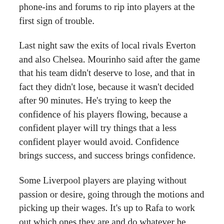phone-ins and forums to rip into players at the first sign of trouble.
Last night saw the exits of local rivals Everton and also Chelsea. Mourinho said after the game that his team didn't deserve to lose, and that in fact they didn't lose, because it wasn't decided after 90 minutes. He's trying to keep the confidence of his players flowing, because a confident player will try things that a less confident player would avoid. Confidence brings success, and success brings confidence.
Some Liverpool players are playing without passion or desire, going through the motions and picking up their wages. It's up to Rafa to work out which ones they are and do whatever he needs to get them out of Anfield. For the others it's a case of accentuating the positives. A former Liverpool reserve, Wigan